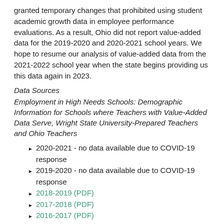granted temporary changes that prohibited using student academic growth data in employee performance evaluations. As a result, Ohio did not report value-added data for the 2019-2020 and 2020-2021 school years. We hope to resume our analysis of value-added data from the 2021-2022 school year when the state begins providing us this data again in 2023.
Data Sources
Employment in High Needs Schools: Demographic Information for Schools where Teachers with Value-Added Data Serve, Wright State University-Prepared Teachers and Ohio Teachers
2020-2021 - no data available due to COVID-19 response
2019-2020 - no data available due to COVID-19 response
2018-2019 (PDF)
2017-2018 (PDF)
2016-2017 (PDF)
Wright State University Prepared Teachers Employed in Ohio High-Needs Schools
2016-2017 (PDF)
2015-2016 (PDF)
2014-2015 (PDF)